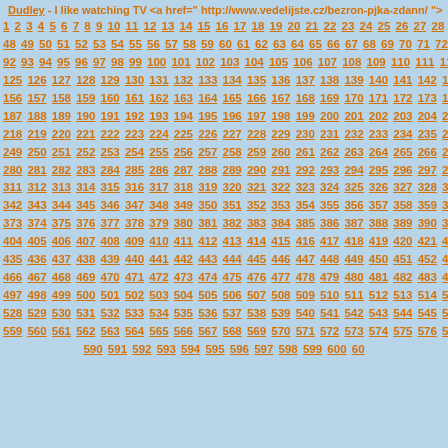Dudley - I like watching TV <a href=" http://www.vedelijste.cz/bezron-pjka-zdann/ ">
1 2 3 4 5 6 7 8 9 10 11 12 13 14 15 16 17 18 19 20 21 22 23 24 25 26 27 28 29 30...
48 49 50 51 52 53 54 55 56 57 58 59 60 61 62 63 64 65 66 67 68 69 70 71 72 73 7...
92 93 94 95 96 97 98 99 100 101 102 103 104 105 106 107 108 109 110 111 112...
125 126 127 128 129 130 131 132 133 134 135 136 137 138 139 140 141 142 14...
156 157 158 159 160 161 162 163 164 165 166 167 168 169 170 171 172 173 17...
187 188 189 190 191 192 193 194 195 196 197 198 199 200 201 202 203 204 20...
218 219 220 221 222 223 224 225 226 227 228 229 230 231 232 233 234 235 23...